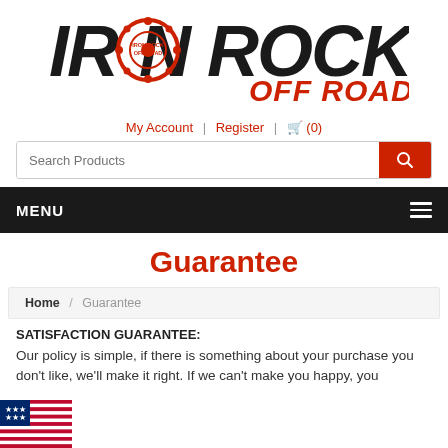[Figure (logo): Iron Rock Off Road logo — bold black text 'IRON ROCK' with circular gear/wheel badge and red 'OFF ROAD' text]
My Account | Register | (0)
MENU
Guarantee
Home / Guarantee
SATISFACTION GUARANTEE:
Our policy is simple, if there is something about your purchase you don't like, we'll make it right. If we can't make you happy, you